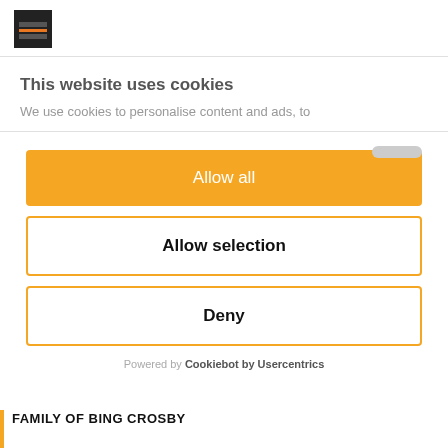[Figure (screenshot): Website logo thumbnail showing dark background with orange horizontal bar]
This website uses cookies
We use cookies to personalise content and ads, to
Allow all
Allow selection
Deny
Powered by Cookiebot by Usercentrics
FAMILY OF BING CROSBY